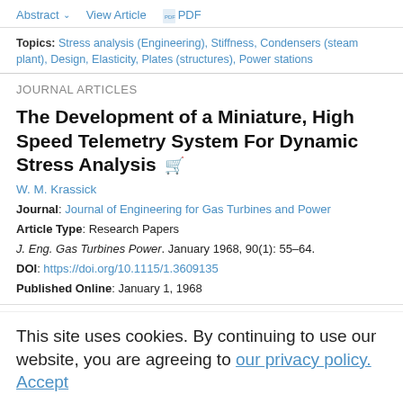Abstract ∨   View Article   PDF
Topics: Stress analysis (Engineering), Stiffness, Condensers (steam plant), Design, Elasticity, Plates (structures), Power stations
JOURNAL ARTICLES
The Development of a Miniature, High Speed Telemetry System For Dynamic Stress Analysis
W. M. Krassick
Journal: Journal of Engineering for Gas Turbines and Power
Article Type: Research Papers
J. Eng. Gas Turbines Power. January 1968, 90(1): 55–64.
DOI: https://doi.org/10.1115/1.3609135
Published Online: January 1, 1968
Abstract ∨   View Article   PDF
This site uses cookies. By continuing to use our website, you are agreeing to our privacy policy. Accept